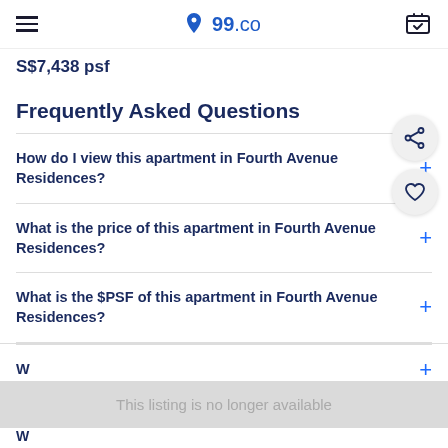99.co
S$7,438 psf
Frequently Asked Questions
How do I view this apartment in Fourth Avenue Residences?
What is the price of this apartment in Fourth Avenue Residences?
What is the $PSF of this apartment in Fourth Avenue Residences?
Wh...
This listing is no longer available